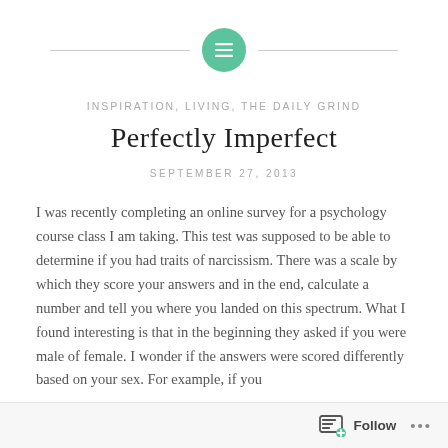[Figure (logo): Green circle icon with horizontal lines (list/menu icon) centered between two horizontal gray lines]
INSPIRATION, LIVING, THE DAILY GRIND
Perfectly Imperfect
SEPTEMBER 27, 2013
I was recently completing an online survey for a psychology course class I am taking. This test was supposed to be able to determine if you had traits of narcissism. There was a scale by which they score your answers and in the end, calculate a number and tell you where you landed on this spectrum. What I found interesting is that in the beginning they asked if you were male of female. I wonder if the answers were scored differently based on your sex. For example, if you
Follow ...